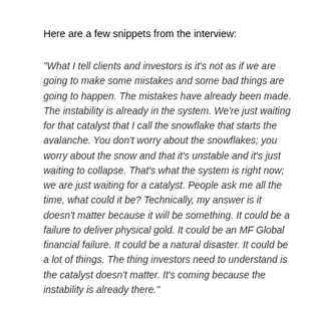Here are a few snippets from the interview:
"What I tell clients and investors is it's not as if we are going to make some mistakes and some bad things are going to happen. The mistakes have already been made. The instability is already in the system. We're just waiting for that catalyst that I call the snowflake that starts the avalanche. You don't worry about the snowflakes; you worry about the snow and that it's unstable and it's just waiting to collapse. That's what the system is right now; we are just waiting for a catalyst. People ask me all the time, what could it be? Technically, my answer is it doesn't matter because it will be something. It could be a failure to deliver physical gold. It could be an MF Global financial failure. It could be a natural disaster. It could be a lot of things. The thing investors need to understand is the catalyst doesn't matter. It's coming because the instability is already there."